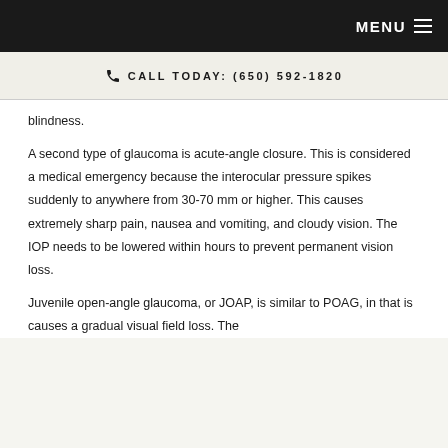MENU
CALL TODAY: (650) 592-1820
blindness.
A second type of glaucoma is acute-angle closure. This is considered a medical emergency because the interocular pressure spikes suddenly to anywhere from 30-70 mm or higher. This causes extremely sharp pain, nausea and vomiting, and cloudy vision. The IOP needs to be lowered within hours to prevent permanent vision loss.
Juvenile open-angle glaucoma, or JOAP, is similar to POAG, in that is causes a gradual visual field loss. The